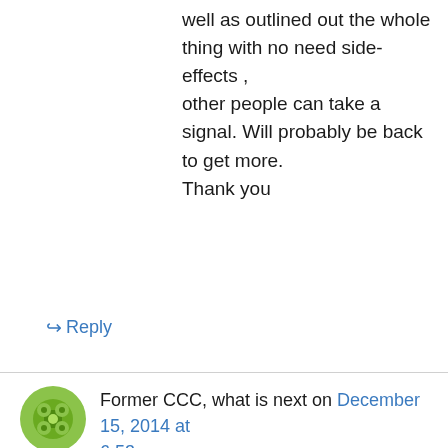well as outlined out the whole thing with no need side-effects , other people can take a signal. Will probably be back to get more. Thank you
↪ Reply
Former CCC, what is next on December 15, 2014 at 6:53 am
It is so ironic that we were told in these churches
Privacy & Cookies: This site uses cookies. By continuing to use this website, you agree to their use.
To find out more, including how to control cookies, see here: Cookie Policy
Close and accept